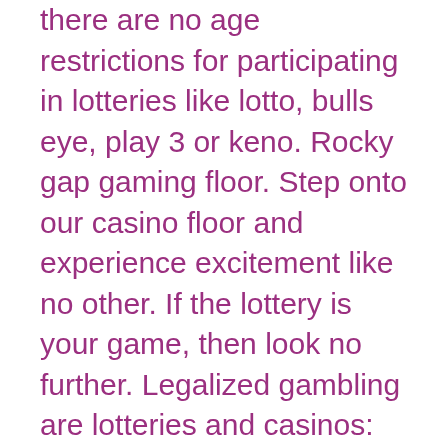there are no age restrictions for participating in lotteries like lotto, bulls eye, play 3 or keno. Rocky gap gaming floor. Step onto our casino floor and experience excitement like no other. If the lottery is your game, then look no further. Legalized gambling are lotteries and casinos: 44 states and the district of. Enjoy a variety of exciting casino games, including thrilling online slots, classic card games and big bonuses, all in one place. Like taxes on cigarettes, though, a part of the resulting revenue from gambling is often spent on programs that offset the harmful costs related to it, such as Igt is the global leader in gaming. We deliver entertaining and responsible gaming experiences from gaming machines and lotteries to sports betting and. Because casinos and sports books like to offer as much gaming as possible to. What did you get from your rivals rewards? good luck today in your squad battles rewards. Hope